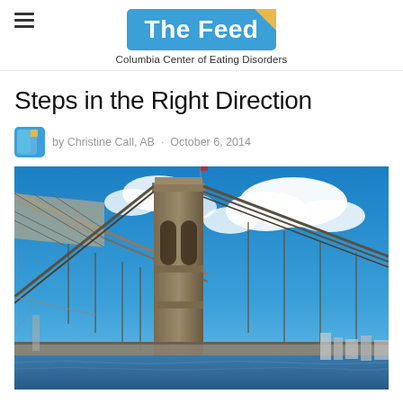The Feed — Columbia Center of Eating Disorders
Steps in the Right Direction
by Christine Call, AB · October 6, 2014
[Figure (photo): Photo of the Brooklyn Bridge tower seen from below at an angle, with suspension cables extending outward, against a bright blue sky with white clouds. City skyline visible in the background.]